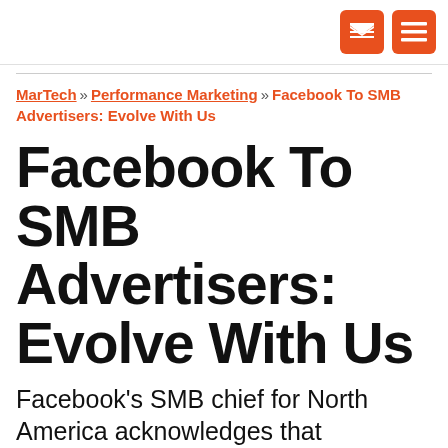[email icon] [menu icon]
MarTech » Performance Marketing » Facebook To SMB Advertisers: Evolve With Us
Facebook To SMB Advertisers: Evolve With Us
Facebook's SMB chief for North America acknowledges that Facebook has "underinvested" in support for small